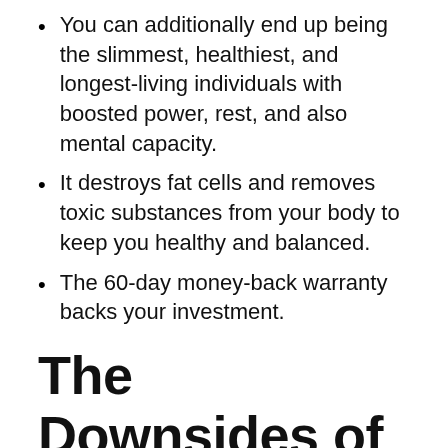You can additionally end up being the slimmest, healthiest, and longest-living individuals with boosted power, rest, and also mental capacity.
It destroys fat cells and removes toxic substances from your body to keep you healthy and balanced.
The 60-day money-back warranty backs your investment.
The Downsides of Okinawa Flat Belly Tonic
In spite of having numerous health advantages, this item as well features some